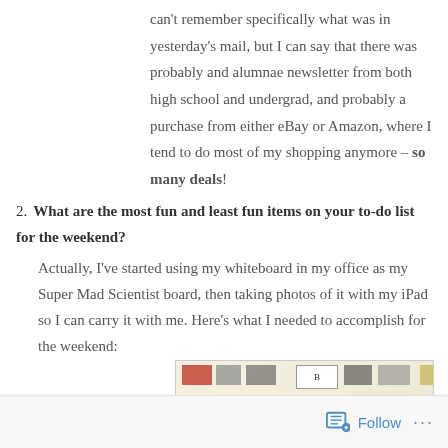can't remember specifically what was in yesterday's mail, but I can say that there was probably and alumnae newsletter from both high school and undergrad, and probably a purchase from either eBay or Amazon, where I tend to do most of my shopping anymore – so many deals!
2. What are the most fun and least fun items on your to-do list for the weekend? Actually, I've started using my whiteboard in my office as my Super Mad Scientist board, then taking photos of it with my iPad so I can carry it with me. Here's what I needed to accomplish for the weekend:
[Figure (photo): A photo of a whiteboard used as a Super Mad Scientist board with various notes, images, and text including 'Groceries', 'Phone Calls' written in different colors.]
Follow ···